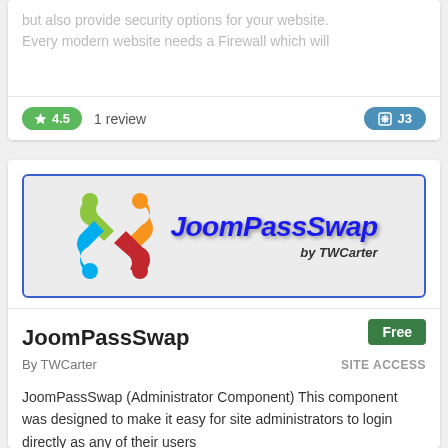but also provide security options for your website. Every modern website needs a Firewall which will
4.5  1 review  J3
[Figure (logo): JoomPassSwap logo — Joomla logo icon on left, bold blue italic 'JoomPassSwap' text on right with 'by TWCarter' subtitle, inside a blue-bordered rounded rectangle on grey background]
Free
JoomPassSwap
By TWCarter    SITE ACCESS
JoomPassSwap (Administrator Component) This component was designed to make it easy for site administrators to login directly as any of their users by temporarily swapping the users password with